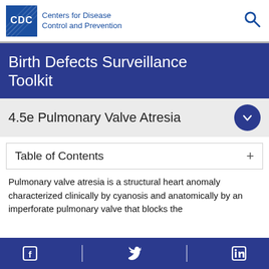CDC Centers for Disease Control and Prevention
Birth Defects Surveillance Toolkit
4.5e Pulmonary Valve Atresia
Table of Contents
Pulmonary valve atresia is a structural heart anomaly characterized clinically by cyanosis and anatomically by an imperforate pulmonary valve that blocks the
Facebook Twitter LinkedIn